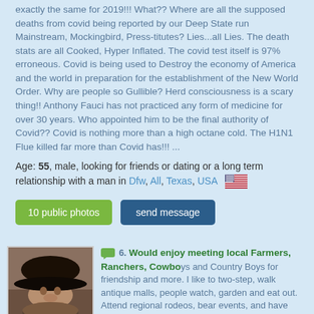exactly the same for 2019!!! What?? Where are all the supposed deaths from covid being reported by our Deep State run Mainstream, Mockingbird, Press-titutes? Lies...all Lies. The death stats are all Cooked, Hyper Inflated. The covid test itself is 97% erroneous. Covid is being used to Destroy the economy of America and the world in preparation for the establishment of the New World Order. Why are people so Gullible? Herd consciousness is a scary thing!! Anthony Fauci has not practiced any form of medicine for over 30 years. Who appointed him to be the final authority of Covid?? Covid is nothing more than a high octane cold. The H1N1 Flue killed far more than Covid has!!! ...
Age: 55, male, looking for friends or dating or a long term relationship with a man in Dfw, All, Texas, USA 🇺🇸
10 public photos | send message
[Figure (photo): Profile photo of a man wearing a dark cowboy hat]
6. Would enjoy meeting local Farmers, Ranchers, Cowboys and Country Boys for friendship and more. I like to two-step, walk antique malls, people watch, garden and eat out. Attend regional rodeos, bear events, and have been known to circle with fairies. Look for KSRancher on Gay Cowboy Central, Gay Hairy Central, and Gay Bear Central also.
Age: 63, male, looking for dating with a man in